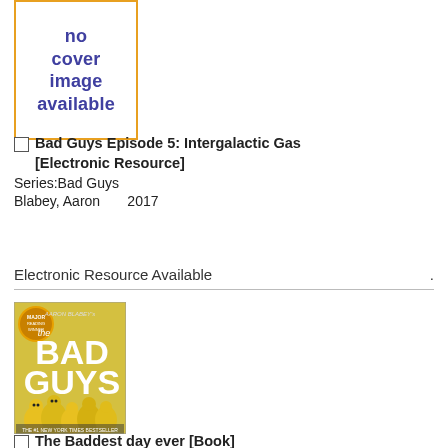[Figure (illustration): Book cover placeholder with orange border and purple bold text reading 'no cover image available']
Bad Guys Episode 5: Intergalactic Gas [Electronic Resource]
Series:Bad Guys
Blabey, Aaron     2017
Electronic Resource Available    .
[Figure (photo): Book cover of 'The Bad Guys' showing cartoon characters in yellow hazmat suits, black and white illustrated style, with a Blabey award sticker]
The Baddest day ever [Book]